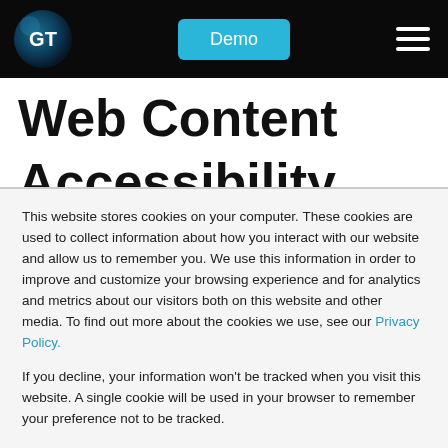[Figure (logo): GT logo circle with dark blue radial gradient and white GT text]
Demo
[Figure (illustration): Hamburger menu icon (three white horizontal lines)]
Web Content Accessibility Guideli...
This website stores cookies on your computer. These cookies are used to collect information about how you interact with our website and allow us to remember you. We use this information in order to improve and customize your browsing experience and for analytics and metrics about our visitors both on this website and other media. To find out more about the cookies we use, see our Privacy Policy.
If you decline, your information won’t be tracked when you visit this website. A single cookie will be used in your browser to remember your preference not to be tracked.
Accept
Decline